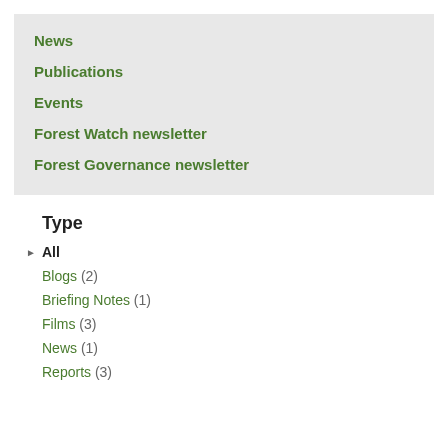News
Publications
Events
Forest Watch newsletter
Forest Governance newsletter
Type
All
Blogs (2)
Briefing Notes (1)
Films (3)
News (1)
Reports (3)